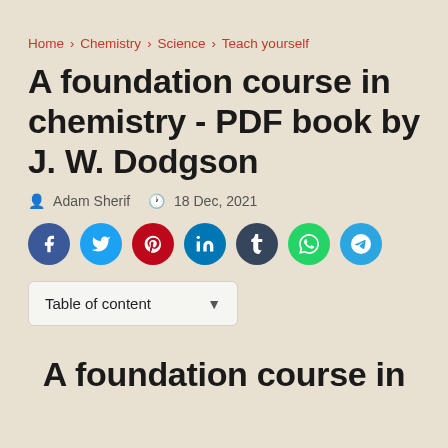Home > Chemistry > Science > Teach yourself
A foundation course in chemistry - PDF book by J. W. Dodgson
Adam Sherif   18 Dec, 2021
[Figure (infographic): Row of social media share buttons: Facebook (blue), Twitter (light blue), Pinterest (red), LinkedIn (dark blue), Tumblr (dark navy), WhatsApp (green), Telegram (light blue)]
Table of content
A foundation course in